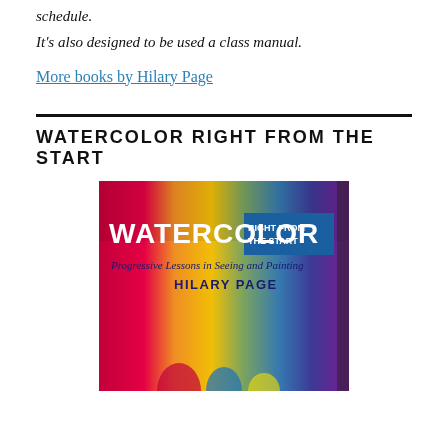schedule.
It's also designed to be used a class manual.
More books by Hilary Page
WATERCOLOR RIGHT FROM THE START
[Figure (photo): Book cover of 'Watercolor Right From the Start: Progressive Lessons in Seeing and Painting' by Hilary Page, featuring a colorful rainbow watercolor wash background.]